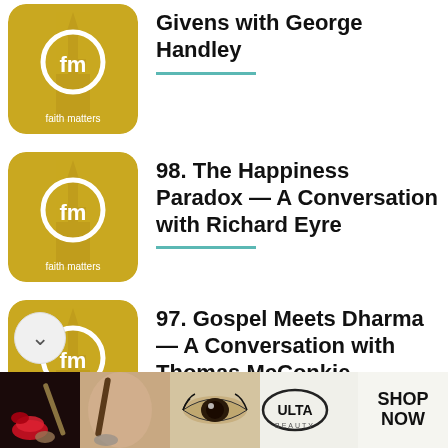[Figure (logo): Faith Matters podcast logo - gold background with fm circle and church spire, 'faith matters' text below]
Givens with George Handley
[Figure (logo): Faith Matters podcast logo - gold background with fm circle and church spire, 'faith matters' text below]
98. The Happiness Paradox — A Conversation with Richard Eyre
[Figure (logo): Faith Matters podcast logo - gold background with fm circle and church spire, 'faith matters' text below]
97. Gospel Meets Dharma — A Conversation with Thomas McConkie
[Figure (screenshot): Ulta Beauty advertisement banner showing makeup product imagery, model faces, Ulta logo, and SHOP NOW button]